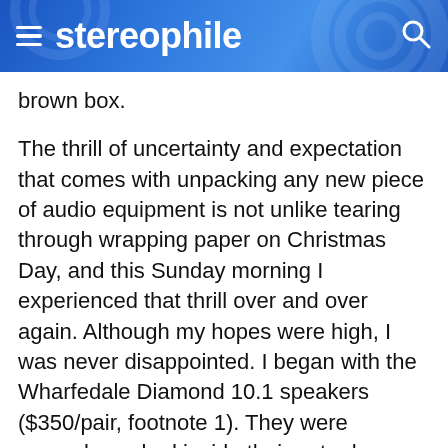stereophile
brown box.
The thrill of uncertainty and expectation that comes with unpacking any new piece of audio equipment is not unlike tearing through wrapping paper on Christmas Day, and this Sunday morning I experienced that thrill over and over again. Although my hopes were high, I was never disappointed. I began with the Wharfedale Diamond 10.1 speakers ($350/pair, footnote 1). They were securely packed inside their outer box, and removing them from their polythene bags was like drawing back heavy curtains on a brilliantly bright day. These speakers are gorgeous. I first noticed their quilted vinyl finish—